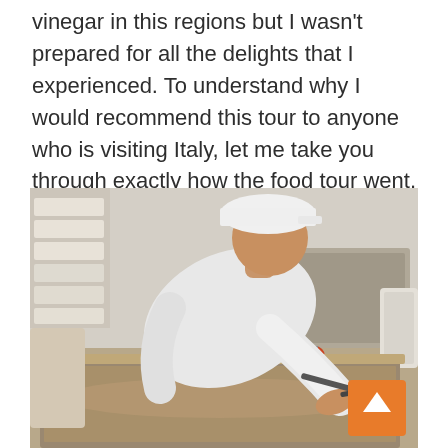vinegar in this regions but I wasn't prepared for all the delights that I experienced. To understand why I would recommend this tour to anyone who is visiting Italy, let me take you through exactly how the food tour went.
[Figure (photo): A worker in a white t-shirt and white cap leaning over a large vat or tub in what appears to be a cheese-making facility. Industrial carts with red wheels are visible in the background along with shelving.]